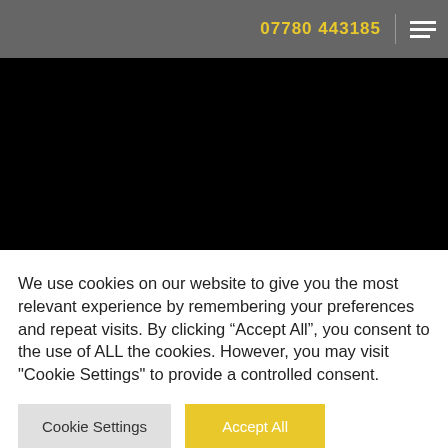07780 443185
[Figure (photo): Black hero image area below navigation header]
We use cookies on our website to give you the most relevant experience by remembering your preferences and repeat visits. By clicking “Accept All”, you consent to the use of ALL the cookies. However, you may visit "Cookie Settings" to provide a controlled consent.
Cookie Settings
Accept All